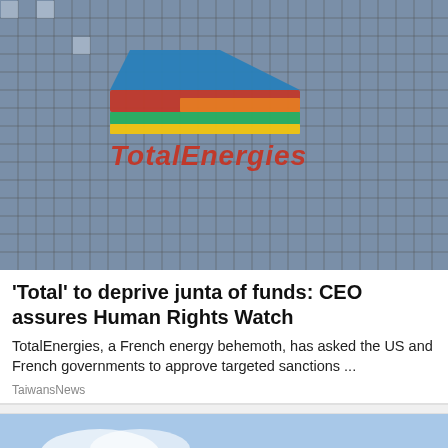[Figure (photo): TotalEnergies logo displayed on a tiled grid/glass building facade - blue, red, green, and yellow logo with TotalEnergies text below it]
'Total' to deprive junta of funds: CEO assures Human Rights Watch
TotalEnergies, a French energy behemoth, has asked the US and French governments to approve targeted sanctions ...
TaiwansNews
[Figure (photo): Close-up of a drone propeller against a blue sky with clouds]